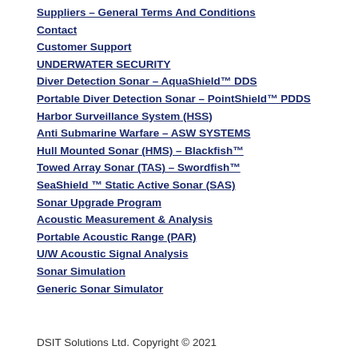Suppliers – General Terms And Conditions
Contact
Customer Support
UNDERWATER SECURITY
Diver Detection Sonar – AquaShield™ DDS
Portable Diver Detection Sonar – PointShield™ PDDS
Harbor Surveillance System (HSS)
Anti Submarine Warfare – ASW SYSTEMS
Hull Mounted Sonar (HMS) – Blackfish™
Towed Array Sonar (TAS) – Swordfish™
SeaShield ™ Static Active Sonar (SAS)
Sonar Upgrade Program
Acoustic Measurement & Analysis
Portable Acoustic Range (PAR)
U/W Acoustic Signal Analysis
Sonar Simulation
Generic Sonar Simulator
DSIT Solutions Ltd. Copyright © 2021